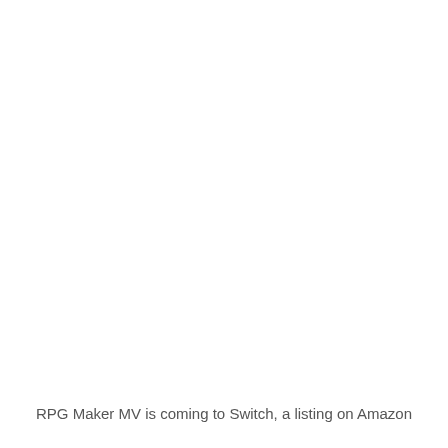RPG Maker MV is coming to Switch, a listing on Amazon